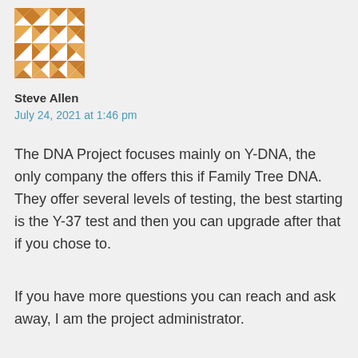[Figure (illustration): Geometric quilt pattern avatar in brown and tan colors]
Steve Allen
July 24, 2021 at 1:46 pm
The DNA Project focuses mainly on Y-DNA, the only company the offers this if Family Tree DNA. They offer several levels of testing, the best starting is the Y-37 test and then you can upgrade after that if you chose to.
If you have more questions you can reach and ask away, I am the project administrator.